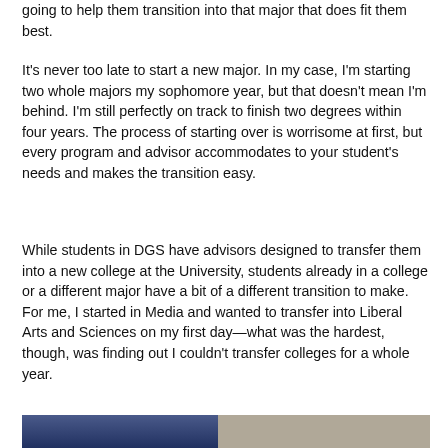going to help them transition into that major that does fit them best.
It's never too late to start a new major. In my case, I'm starting two whole majors my sophomore year, but that doesn't mean I'm behind. I'm still perfectly on track to finish two degrees within four years. The process of starting over is worrisome at first, but every program and advisor accommodates to your student's needs and makes the transition easy.
While students in DGS have advisors designed to transfer them into a new college at the University, students already in a college or a different major have a bit of a different transition to make. For me, I started in Media and wanted to transfer into Liberal Arts and Sciences on my first day—what was the hardest, though, was finding out I couldn't transfer colleges for a whole year.
[Figure (photo): A photograph showing a room with a monitor/screen on the left showing a blue screen, and on the right a wall with a mounted monitor and what appears to be a red bag or object.]